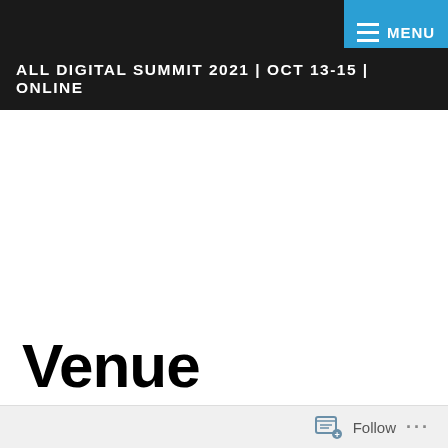ALL DIGITAL SUMMIT 2021 | OCT 13-15 | ONLINE
Venue
Follow ...